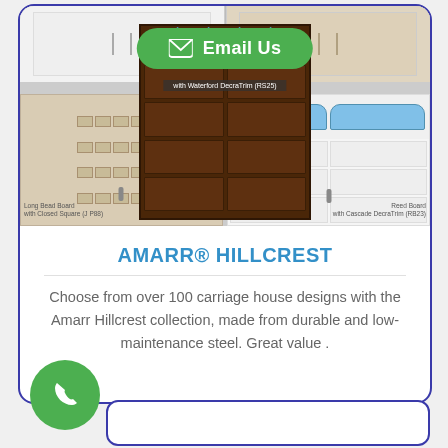[Figure (photo): Email Us button (green rounded rectangle with envelope icon) overlaid on garage door product images. Center: dark brown Amarr Hillcrest door with diamond glass inserts (Waterford DecraTrim RS25). Bottom-left: beige Long Bead Board with Closed Square (P88). Bottom-right: white Reed Board with Cascade DecraTrim (RB23).]
with Waterford DecraTrim (RS25)
Long Bead Board with Closed Square (J P88)
Reed Board with Cascade DecraTrim (RB23)
AMARR® HILLCREST
Choose from over 100 carriage house designs with the Amarr Hillcrest collection, made from durable and low-maintenance steel. Great value .
[Figure (other): Green circle phone/call button icon at bottom left]